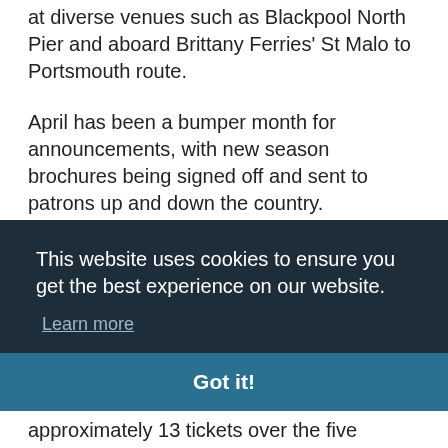at diverse venues such as Blackpool North Pier and aboard Brittany Ferries' St Malo to Portsmouth route.
April has been a bumper month for announcements, with new season brochures being signed off and sent to patrons up and down the country. Pantomime advertising usually takes pride of place as audiences are keen to secure the best tickets for their festive treat.
This website uses cookies to ensure you get the best experience on our website.
Learn more
Got it!
approximately 13 tickets over the five